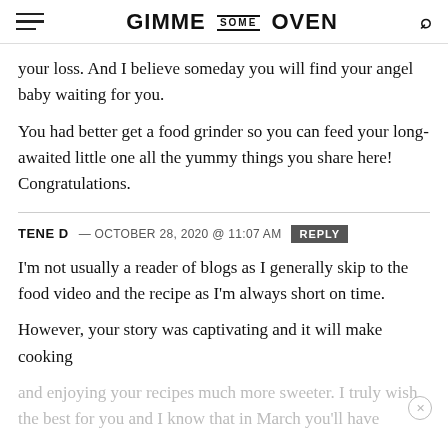GIMME SOME OVEN
your loss. And I believe someday you will find your angel baby waiting for you.
You had better get a food grinder so you can feed your long-awaited little one all the yummy things you share here! Congratulations.
TENE D — OCTOBER 28, 2020 @ 11:07 AM [REPLY]
I'm not usually a reader of blogs as I generally skip to the food video and the recipe as I'm always short on time.
However, your story was captivating and it will make cooking
and enjoying your recipes much more sweeter. I truly wish the best for you and I know that in March you'll have